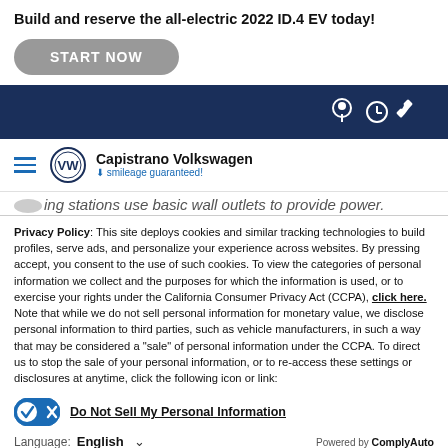Build and reserve the all-electric 2022 ID.4 EV today!
START NOW
[Figure (screenshot): Dark navy navigation bar with location pin, clock, and phone icons on the right]
[Figure (logo): Capistrano Volkswagen logo with VW roundel and tagline 'smileage guaranteed!']
...ing stations use basic wall outlets to provide power.
Privacy Policy: This site deploys cookies and similar tracking technologies to build profiles, serve ads, and personalize your experience across websites. By pressing accept, you consent to the use of such cookies. To view the categories of personal information we collect and the purposes for which the information is used, or to exercise your rights under the California Consumer Privacy Act (CCPA), click here. Note that while we do not sell personal information for monetary value, we disclose personal information to third parties, such as vehicle manufacturers, in such a way that may be considered a "sale" of personal information under the CCPA. To direct us to stop the sale of your personal information, or to re-access these settings or disclosures at anytime, click the following icon or link:
Do Not Sell My Personal Information
Language: English
Powered by ComplyAuto
Accept and Continue →
California Privacy Disclosures
×